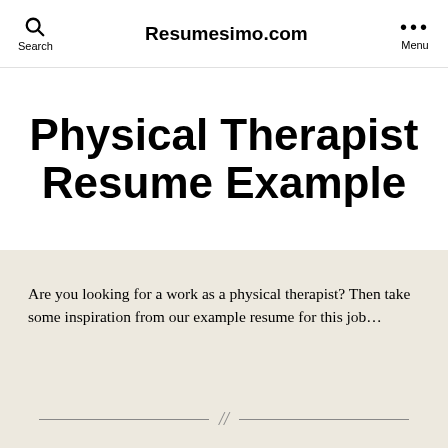Search  Resumesimo.com  Menu
Physical Therapist Resume Example
Are you looking for a work as a physical therapist? Then take some inspiration from our example resume for this job…